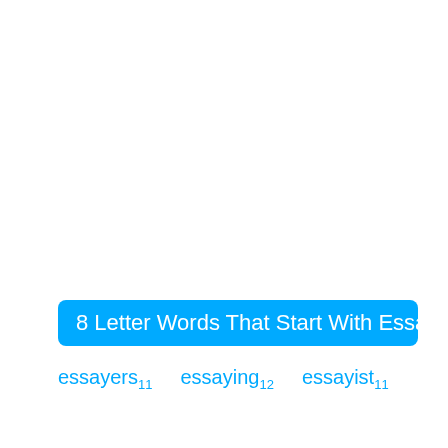8 Letter Words That Start With Essay
essayers11  essaying12  essayist11